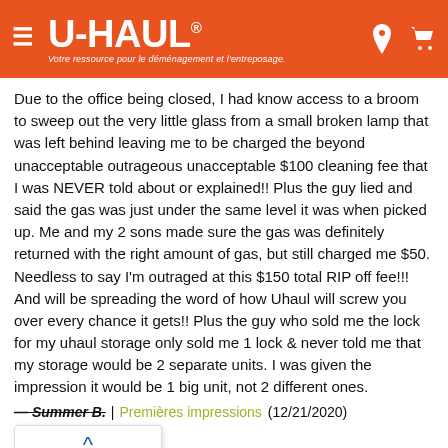U-HAUL® — Votre ressource pour le déménagement et l'entreposage.
Due to the office being closed, I had know access to a broom to sweep out the very little glass from a small broken lamp that was left behind leaving me to be charged the beyond unacceptable outrageous unacceptable $100 cleaning fee that I was NEVER told about or explained!! Plus the guy lied and said the gas was just under the same level it was when picked up. Me and my 2 sons made sure the gas was definitely returned with the right amount of gas, but still charged me $50. Needless to say I'm outraged at this $150 total RIP off fee!!! And will be spreading the word of how Uhaul will screw you over every chance it gets!! Plus the guy who sold me the lock for my uhaul storage only sold me 1 lock & never told me that my storage would be 2 separate units. I was given the impression it would be 1 big unit, not 2 different ones.
— Summer B.  |  Premières impressions  (12/21/2020)
Retour
Haut de la page
The process was very streamlined and personnel were fabulous and